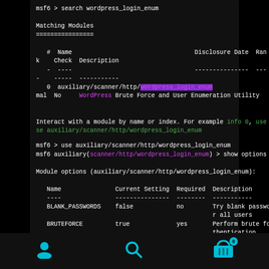[Figure (screenshot): Terminal screenshot showing Metasploit msf6 search results for wordpress_login_enum module]
[Figure (screenshot): Terminal screenshot showing Metasploit msf6 use and show options for auxiliary/scanner/http/wordpress_login_enum module with options table]
[Figure (screenshot): Mobile app navigation bar with user, search, and cart icons]